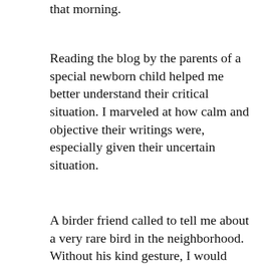that morning.
Reading the blog by the parents of a special newborn child helped me better understand their critical situation. I marveled at how calm and objective their writings were, especially given their uncertain situation.
A birder friend called to tell me about a very rare bird in the neighborhood. Without his kind gesture, I would have missed the Vermilion Flycatcher.
[Figure (photo): A butterfly with yellow and black patterned wings resting on flowers against a blurred green background, partially visible at the bottom of the page.]